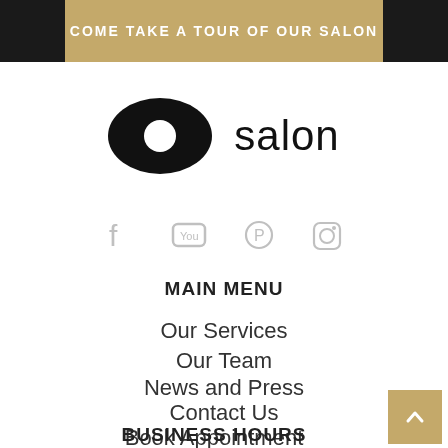[Figure (photo): Top banner with gold/tan background and partial dark photo areas on left and right edges, with text 'COME TAKE A TOUR OF OUR SALON' in white uppercase letters]
[Figure (logo): O salon logo — black oval/eye shape with white circle in center, followed by the word 'salon' in black text]
[Figure (infographic): Row of four social media icons in light gray: Facebook, YouTube, Pinterest, Instagram]
MAIN MENU
Our Services
Our Team
News and Press
Contact Us
Book Appointment
BUSINESS HOURS